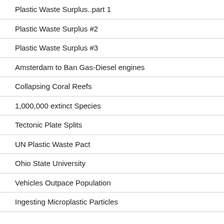Plastic Waste Surplus..part 1
Plastic Waste Surplus #2
Plastic Waste Surplus #3
Amsterdam to Ban Gas-Diesel engines
Collapsing Coral Reefs
1,000,000 extinct Species
Tectonic Plate Splits
UN Plastic Waste Pact
Ohio State University
Vehicles Outpace Population
Ingesting Microplastic Particles